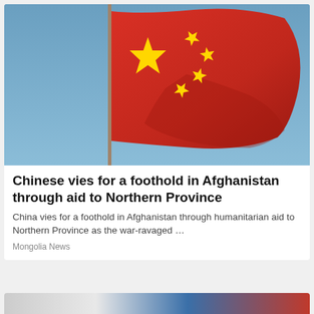[Figure (photo): Chinese national flag waving against a blue sky, red flag with one large yellow star and four smaller yellow stars]
Chinese vies for a foothold in Afghanistan through aid to Northern Province
China vies for a foothold in Afghanistan through humanitarian aid to Northern Province as the war-ravaged …
Mongolia News
[Figure (photo): Partial view of another news article image, partially cut off at bottom of page]